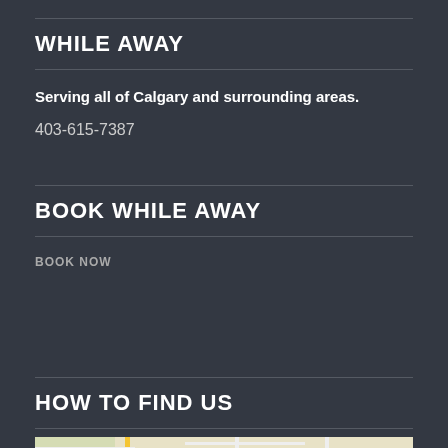WHILE AWAY
Serving all of Calgary and surrounding areas.
403-615-7387
BOOK WHILE AWAY
BOOK NOW
HOW TO FIND US
[Figure (map): Google Maps partial view showing road/highway map of Calgary area with route 201 badge visible]